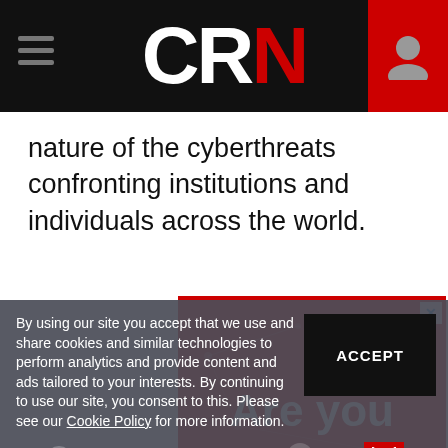CRN
nature of the cyberthreats confronting institutions and individuals across the world.
[Figure (illustration): Advertisement banner with red background and white text reading 'Are you following CRN?' with network/circuit visual design and a LinkedIn button partially visible at bottom.]
By using our site you accept that we use and share cookies and similar technologies to perform analytics and provide content and ads tailored to your interests. By continuing to use our site, you consent to this. Please see our Cookie Policy for more information.